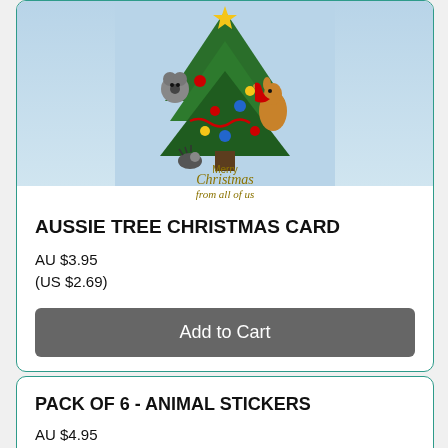[Figure (illustration): Australian wildlife Christmas card illustration showing kangaroos and koalas decorating a Christmas tree with ornaments and a red stocking, with 'Merry Christmas from all of us' text in gold below]
AUSSIE TREE CHRISTMAS CARD
AU $3.95
(US $2.69)
Add to Cart
PACK OF 6 - ANIMAL STICKERS
AU $4.95
(US $3.37)